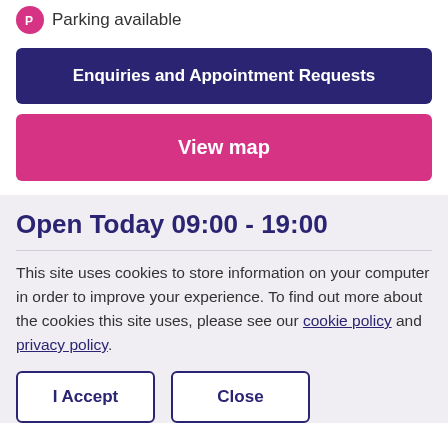Parking available
Enquiries and Appointment Requests
View map
Open Today 09:00 - 19:00
This site uses cookies to store information on your computer in order to improve your experience. To find out more about the cookies this site uses, please see our cookie policy and privacy policy.
I Accept
Close